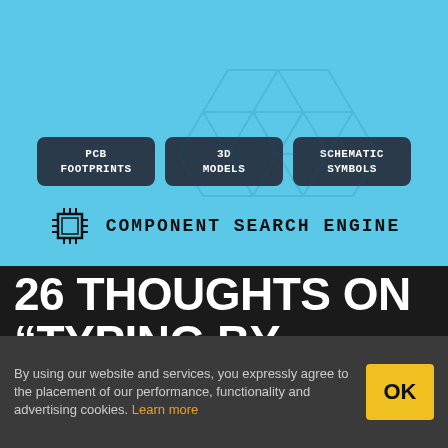[Figure (screenshot): Component Search Engine banner with PCB Footprints, 3D Models, Schematic Symbols buttons and logo on light blue background]
26 THOUGHTS ON “TYPING BY SLAMMING YOUR LAPTOP CLOSED. REPEATEDLY”
By using our website and services, you expressly agree to the placement of our performance, functionality and advertising cookies. Learn more